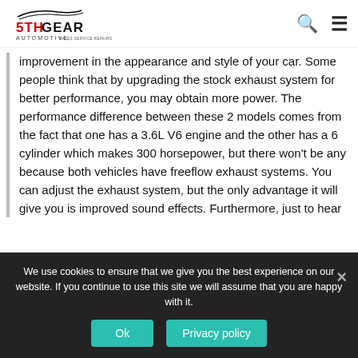[Figure (logo): 5th Gear Automotive logo with red and black text and car silhouette graphic]
improvement in the appearance and style of your car. Some people think that by upgrading the stock exhaust system for better performance, you may obtain more power. The performance difference between these 2 models comes from the fact that one has a 3.6L V6 engine and the other has a 6 cylinder which makes 300 horsepower, but there won't be any because both vehicles have freeflow exhaust systems. You can adjust the exhaust system, but the only advantage it will give you is improved sound effects. Furthermore, just to hear
We use cookies to ensure that we give you the best experience on our website. If you continue to use this site we will assume that you are happy with it.